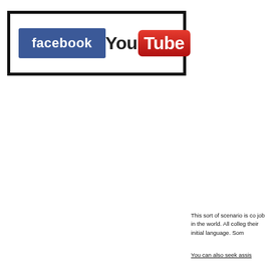[Figure (logo): A bordered box containing the Facebook logo (blue rectangle with white 'facebook' text) and the YouTube logo ('You' in black text followed by 'Tube' in white text on a red rounded rectangle).]
This sort of scenario is co job in the world. All colleg their initial language. Som
You can also seek assis